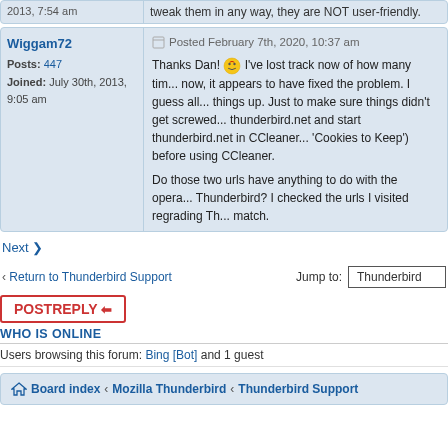2013, 7:54 am / tweak them in any way, they are NOT user-friendly.
Wiggam72
Posts: 447
Joined: July 30th, 2013, 9:05 am
Posted February 7th, 2020, 10:37 am
Thanks Dan! I've lost track now of how many tim... now, it appears to have fixed the problem. I guess all... things up. Just to make sure things didn't get screwed... thunderbird.net and start thunderbird.net in CCleaner... 'Cookies to Keep') before using CCleaner.

Do those two urls have anything to do with the opera... Thunderbird? I checked the urls I visited regrading Th... match.
Next ❯
‹ Return to Thunderbird Support
Jump to: Thunderbird
POSTREPLY
WHO IS ONLINE
Users browsing this forum: Bing [Bot] and 1 guest
Board index ‹ Mozilla Thunderbird ‹ Thunderbird Support